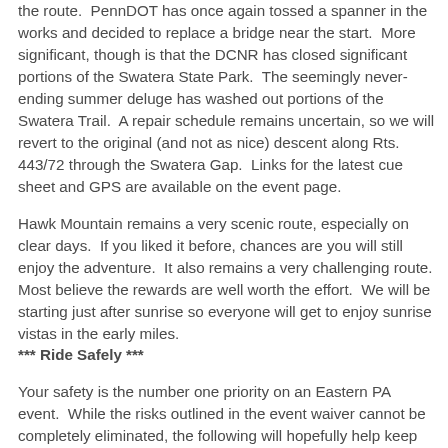the route.  PennDOT has once again tossed a spanner in the works and decided to replace a bridge near the start.  More significant, though is that the DCNR has closed significant portions of the Swatera State Park.  The seemingly never-ending summer deluge has washed out portions of the Swatera Trail.  A repair schedule remains uncertain, so we will revert to the original (and not as nice) descent along Rts. 443/72 through the Swatera Gap.  Links for the latest cue sheet and GPS are available on the event page.
Hawk Mountain remains a very scenic route, especially on clear days.  If you liked it before, chances are you will still enjoy the adventure.  It also remains a very challenging route.  Most believe the rewards are well worth the effort.  We will be starting just after sunrise so everyone will get to enjoy sunrise vistas in the early miles.
*** Ride Safely ***
Your safety is the number one priority on an Eastern PA event.  While the risks outlined in the event waiver cannot be completely eliminated, the following will hopefully help keep